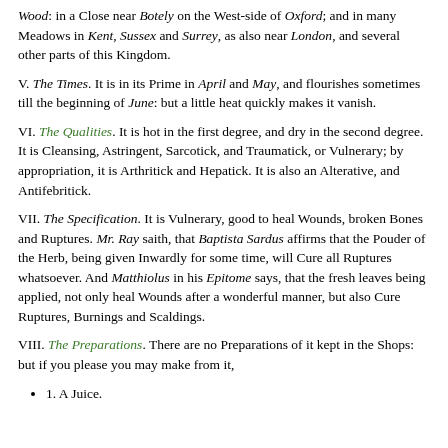Wood: in a Close near Botely on the West-side of Oxford; and in many Meadows in Kent, Sussex and Surrey, as also near London, and several other parts of this Kingdom.
V. The Times. It is in its Prime in April and May, and flourishes sometimes till the beginning of June: but a little heat quickly makes it vanish.
VI. The Qualities. It is hot in the first degree, and dry in the second degree. It is Cleansing, Astringent, Sarcotick, and Traumatick, or Vulnerary; by appropriation, it is Arthritick and Hepatick. It is also an Alterative, and Antifebritick.
VII. The Specification. It is Vulnerary, good to heal Wounds, broken Bones and Ruptures. Mr. Ray saith, that Baptista Sardus affirms that the Pouder of the Herb, being given Inwardly for some time, will Cure all Ruptures whatsoever. And Matthiolus in his Epitome says, that the fresh leaves being applied, not only heal Wounds after a wonderful manner, but also Cure Ruptures, Burnings and Scaldings.
VIII. The Preparations. There are no Preparations of it kept in the Shops: but if you please you may make from it,
1. A Juice.